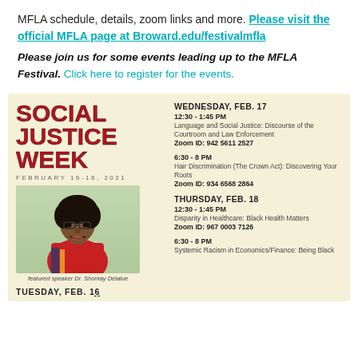MFLA schedule, details, zoom links and more. Please visit the official MFLA page at Broward.edu/festivalmfla
Please join us for some events leading up to the MFLA Festival. Click here to register for the events.
[Figure (infographic): Social Justice Week flyer with red bold text reading SOCIAL JUSTICE WEEK, dates February 16-18, 2021, photo of featured speaker Dr. Shontay Delalue, and event schedule on the right side listing Wednesday Feb. 17 and Thursday Feb. 18 sessions with Zoom IDs.]
TUESDAY, FEB. 1[6]